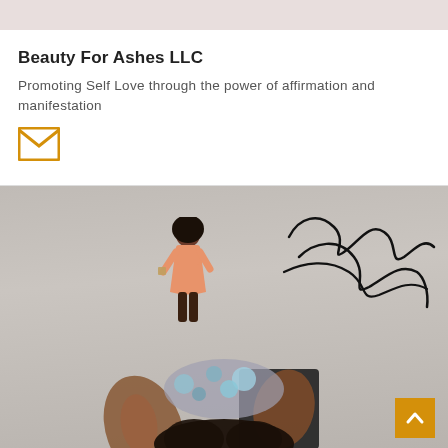[Figure (illustration): Pinkish-beige banner strip at top of page]
Beauty For Ashes LLC
Promoting Self Love through the power of affirmation and manifestation
[Figure (illustration): Gold/amber envelope icon (email contact icon)]
[Figure (photo): Creative art photo showing a woman in a salmon/peach dress standing on a jeweled crown being placed on a person's natural hair by hands, with a cursive signature overlay reading 'Romeulis' or similar, on a light gray background. A gold back-to-top arrow button is in the bottom right corner.]